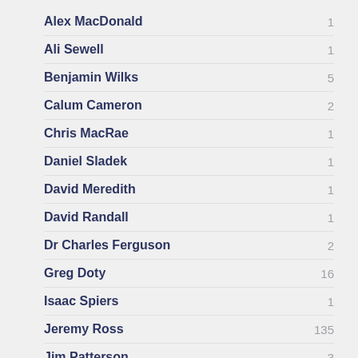Alex MacDonald — 1
Ali Sewell — 1
Benjamin Wilks — 5
Calum Cameron — 2
Chris MacRae — 1
Daniel Sladek — 1
David Meredith — 1
David Randall — 1
Dr Charles Ferguson — 2
Greg Doty — 16
Isaac Spiers — 1
Jeremy Ross — 135
Jim Patterson — 3
John Sutherland — 1
Manuel Reano — 1